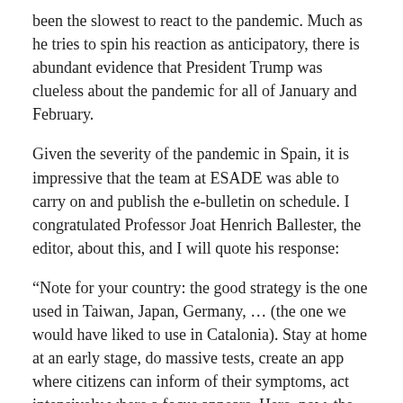been the slowest to react to the pandemic. Much as he tries to spin his reaction as anticipatory, there is abundant evidence that President Trump was clueless about the pandemic for all of January and February.
Given the severity of the pandemic in Spain, it is impressive that the team at ESADE was able to carry on and publish the e-bulletin on schedule. I congratulated Professor Joat Henrich Ballester, the editor, about this, and I will quote his response:
“Note for your country: the good strategy is the one used in Taiwan, Japan, Germany, … (the one we would have liked to use in Catalonia). Stay at home at an early stage, do massive tests, create an app where citizens can inform of their symptoms, act intensively where a focus appears. Here, now, the only we can do is work hard to open new hospital hi-tech beds in a few days to have nobody unattended. We have a quite